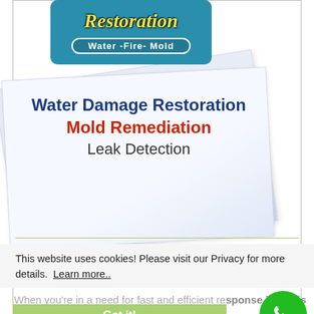[Figure (logo): Disaster Restoration company logo with blue rounded rectangle background, showing 'Restoration' in italic yellow text and 'Water-Fire-Mold' in white text with border]
[Figure (illustration): Angled white card/paper graphic showing service categories on gradient blue-white background]
Water Damage Restoration
Mold Remediation
Leak Detection
This website uses cookies! Please visit our Privacy for more details.  Learn more..
When you’re in a need for fast and efficient response in Hollis Hills, our qualified water damage & mold remediation technicians are available 24 hours a day, 365 days a year
Got it!